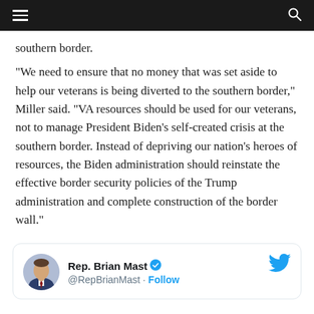≡  [navigation bar]  🔍
southern border.
“We need to ensure that no money that was set aside to help our veterans is being diverted to the southern border,” Miller said. “VA resources should be used for our veterans, not to manage President Biden’s self-created crisis at the southern border. Instead of depriving our nation’s heroes of resources, the Biden administration should reinstate the effective border security policies of the Trump administration and complete construction of the border wall.”
[Figure (screenshot): Twitter/X card showing Rep. Brian Mast (@RepBrianMast) with a verified blue checkmark and a Follow button, with Twitter bird logo on the right.]